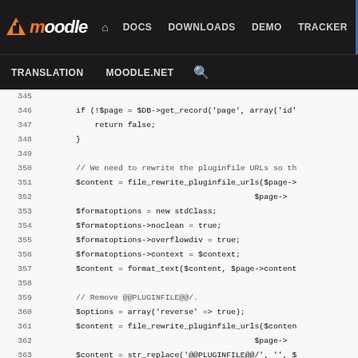moodle | DOCS | DOWNLOADS | DEMO | TRACKER | DEV | TRANSLATION | MOODLE.NET
[Figure (screenshot): Moodle developer documentation website navigation bar with logo and nav links: DOCS, DOWNLOADS, DEMO, TRACKER, DEV (active), TRANSLATION, MOODLE.NET, search icon]
Code viewer showing PHP source lines 345-370:
345
346     if (!$page = $DB->get_record('page', array('id'
347         return false;
348     }
349
350     // We need to rewrite the pluginfile URLs so th
351     $content = file_rewrite_pluginfile_urls($page->
352                                               $page->
353     $formatoptions = new stdClass;
354     $formatoptions->noclean = true;
355     $formatoptions->overflowdiv = true;
356     $formatoptions->context = $context;
357     $content = format_text($content, $page->content
358
359     // Remove @@PLUGINFILE@@/.
360     $options = array('reverse' => true);
361     $content = file_rewrite_pluginfile_urls($conten
362                                               $page->
363     $content = str_replace('@@PLUGINFILE@@/', '', $
364
365     send_file($content, $filename, 0, 0, true, true
366     } else {
367         $fs = get_file_storage();
368         $relativepath = implode('/', $args);
369         $fullpath = "/$context->id/mod_page/$filearea/0
370     if (!$file = $fs->get_file_by_hash(sha1($fullpa